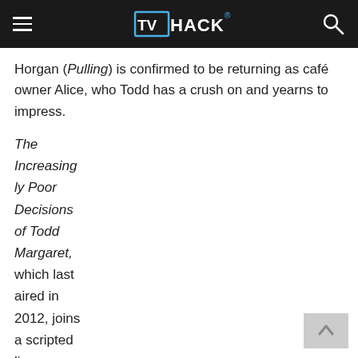TVHACK
Horgan (Pulling) is confirmed to be returning as café owner Alice, who Todd has a crush on and yearns to impress.
The Increasingly Poor Decisions of Todd Margaret, which last aired in 2012, joins a scripted lineup on IFC that includes sketch series The Birthday Boys, podcast spin-off